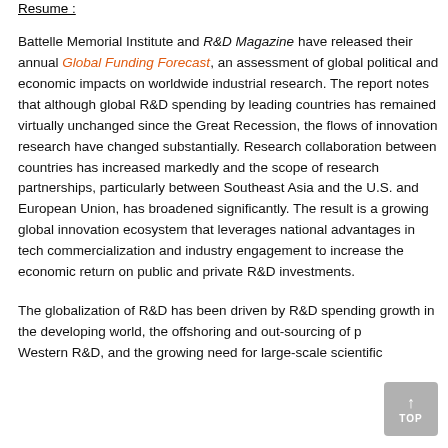Resume :
Battelle Memorial Institute and R&D Magazine have released their annual Global Funding Forecast, an assessment of global political and economic impacts on worldwide industrial research. The report notes that although global R&D spending by leading countries has remained virtually unchanged since the Great Recession, the flows of innovation research have changed substantially. Research collaboration between countries has increased markedly and the scope of research partnerships, particularly between Southeast Asia and the U.S. and European Union, has broadened significantly. The result is a growing global innovation ecosystem that leverages national advantages in tech commercialization and industry engagement to increase the economic return on public and private R&D investments.
The globalization of R&D has been driven by R&D spending growth in the developing world, the offshoring and out-sourcing of parts of Western R&D, and the growing need for large-scale scientific…